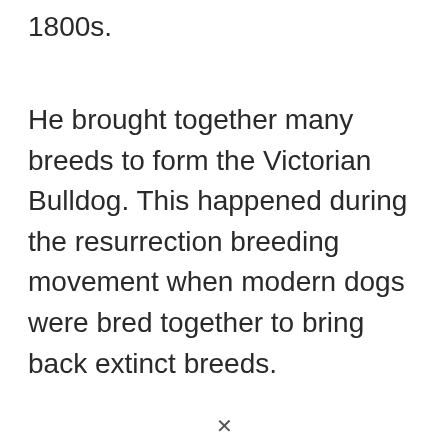1800s.
He brought together many breeds to form the Victorian Bulldog. This happened during the resurrection breeding movement when modern dogs were bred together to bring back extinct breeds.